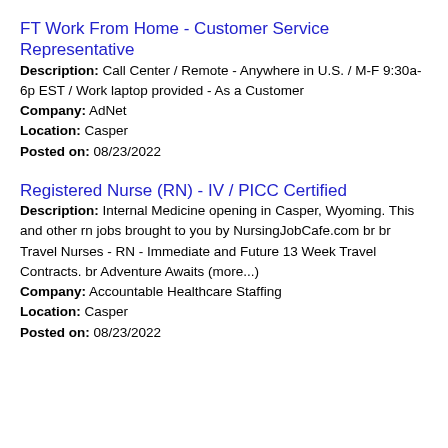FT Work From Home - Customer Service Representative
Description: Call Center / Remote - Anywhere in U.S. / M-F 9:30a-6p EST / Work laptop provided - As a Customer
Company: AdNet
Location: Casper
Posted on: 08/23/2022
Registered Nurse (RN) - IV / PICC Certified
Description: Internal Medicine opening in Casper, Wyoming. This and other rn jobs brought to you by NursingJobCafe.com br br Travel Nurses - RN - Immediate and Future 13 Week Travel Contracts. br Adventure Awaits (more...)
Company: Accountable Healthcare Staffing
Location: Casper
Posted on: 08/23/2022